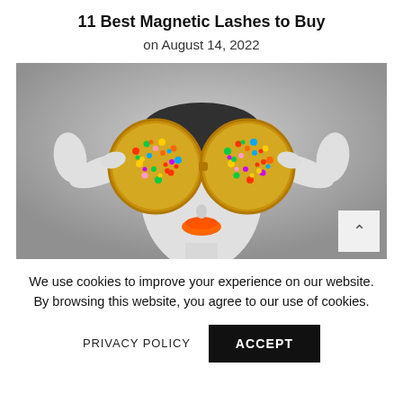11 Best Magnetic Lashes to Buy
on August 14, 2022
[Figure (photo): Black and white fashion photo of a woman wearing large round jewel-encrusted gold sunglasses with colorful gemstones, holding the frames with white-gloved hands, with bold orange lips. A scroll-to-top arrow button is visible in the lower right corner of the image.]
We use cookies to improve your experience on our website. By browsing this website, you agree to our use of cookies.
PRIVACY POLICY     ACCEPT